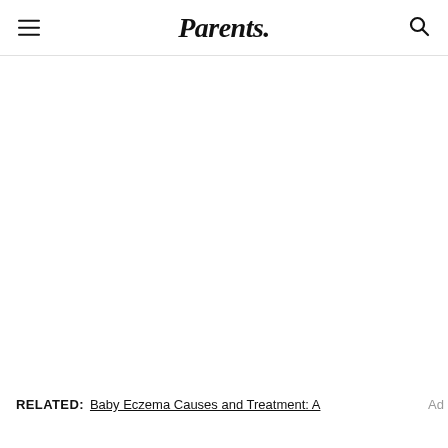Parents.
[Figure (other): Large blank white content area placeholder for an image or article content]
RELATED: Baby Eczema Causes and Treatment: A